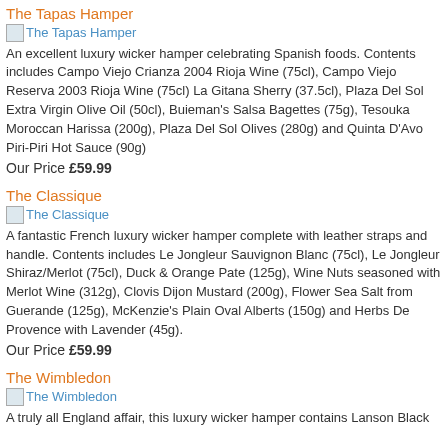The Tapas Hamper
[Figure (other): Image placeholder for The Tapas Hamper]
An excellent luxury wicker hamper celebrating Spanish foods. Contents includes Campo Viejo Crianza 2004 Rioja Wine (75cl), Campo Viejo Reserva 2003 Rioja Wine (75cl) La Gitana Sherry (37.5cl), Plaza Del Sol Extra Virgin Olive Oil (50cl), Buieman's Salsa Bagettes (75g), Tesouka Moroccan Harissa (200g), Plaza Del Sol Olives (280g) and Quinta D'Avo Piri-Piri Hot Sauce (90g)
Our Price £59.99
The Classique
[Figure (other): Image placeholder for The Classique]
A fantastic French luxury wicker hamper complete with leather straps and handle. Contents includes Le Jongleur Sauvignon Blanc (75cl), Le Jongleur Shiraz/Merlot (75cl), Duck & Orange Pate (125g), Wine Nuts seasoned with Merlot Wine (312g), Clovis Dijon Mustard (200g), Flower Sea Salt from Guerande (125g), McKenzie's Plain Oval Alberts (150g) and Herbs De Provence with Lavender (45g).
Our Price £59.99
The Wimbledon
[Figure (other): Image placeholder for The Wimbledon]
A truly all England affair, this luxury wicker hamper contains Lanson Black...